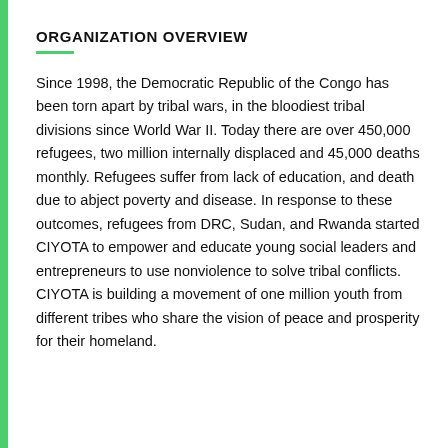ORGANIZATION OVERVIEW
Since 1998, the Democratic Republic of the Congo has been torn apart by tribal wars, in the bloodiest tribal divisions since World War II. Today there are over 450,000 refugees, two million internally displaced and 45,000 deaths monthly. Refugees suffer from lack of education, and death due to abject poverty and disease. In response to these outcomes, refugees from DRC, Sudan, and Rwanda started CIYOTA to empower and educate young social leaders and entrepreneurs to use nonviolence to solve tribal conflicts. CIYOTA is building a movement of one million youth from different tribes who share the vision of peace and prosperity for their homeland.